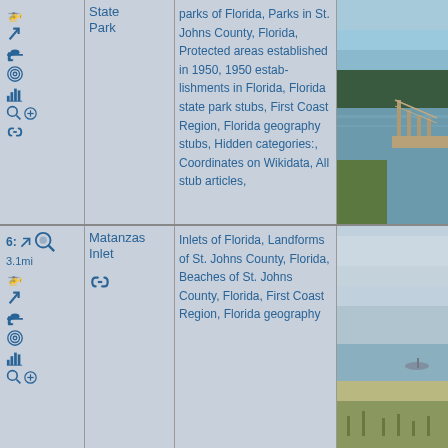helicopter icon, arrow, car, spiral, chart, search+, link icons
State Park
parks of Florida, Parks in St. Johns County, Florida, Protected areas established in 1950, 1950 establishments in Florida, Florida state park stubs, First Coast Region, Florida geography stubs, Hidden categories:, Coordinates on Wikidata, All stub articles,
[Figure (photo): Photo of a waterway with a dock/pier, calm water reflecting sky, trees in background, St. Johns County Florida]
6: 3.1mi, arrow, search icon, helicopter, arrow, car, spiral, chart, search+, link icons
Matanzas Inlet
Inlets of Florida, Landforms of St. Johns County, Florida, Beaches of St. Johns County, Florida, First Coast Region, Florida geography
[Figure (photo): Photo of Matanzas Inlet beach area, sandy shores, water, cloudy sky, St. Johns County Florida]